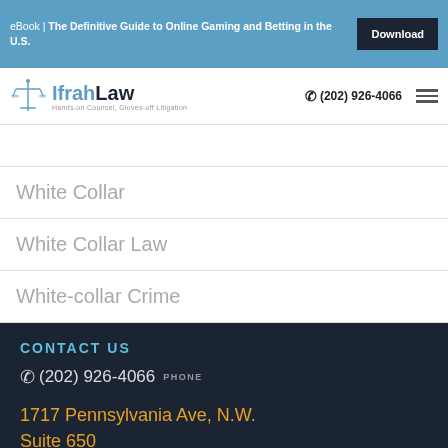eBook | The Definitive Guide to Online Gaming and Betting in the U.S. Download
[Figure (logo): Ifrah Law logo with scales icon and tagline 'Hands-on Counsel, Gloves-off Litigation']
(202) 926-4066
White Collar
White Collar Law
White-collar Crime
CONTACT US
(202) 926-4066 PHONE
1717 Pennsylvania Ave, N.W.
Suite 650